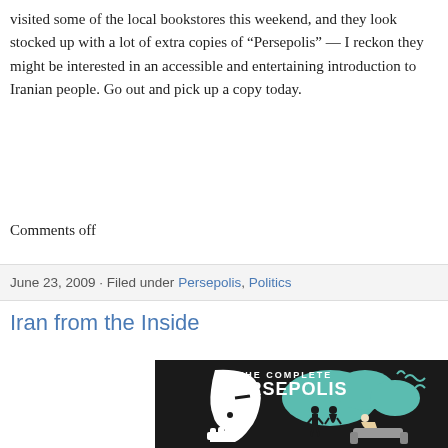visited some of the local bookstores this weekend, and they look stocked up with a lot of extra copies of “Persepolis” — I reckon they might be interested in an accessible and entertaining introduction to Iranian people. Go out and pick up a copy today.
Comments off
June 23, 2009 · Filed under Persepolis, Politics
Iran from the Inside
[Figure (illustration): Book cover of The Complete Persepolis — dark background with large white stylized face profile on left, teal cloud/smoke shapes in center, and illustrated figures of people standing and sitting on right in black and white.]